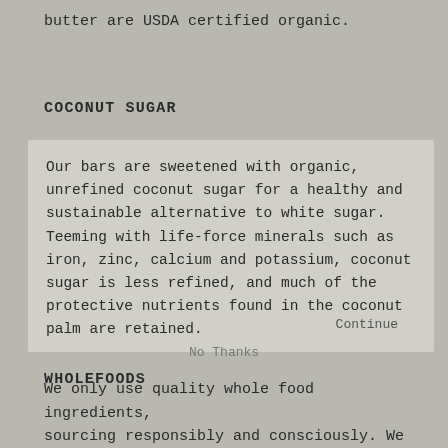butter are USDA certified organic.
COCONUT SUGAR
Our bars are sweetened with organic, unrefined coconut sugar for a healthy and sustainable alternative to white sugar. Teeming with life-force minerals such as iron, zinc, calcium and potassium, coconut sugar is less refined, and much of the protective nutrients found in the coconut palm are retained.
WHOLEFOODS
We only use quality whole food ingredients, sourcing responsibly and consciously. We